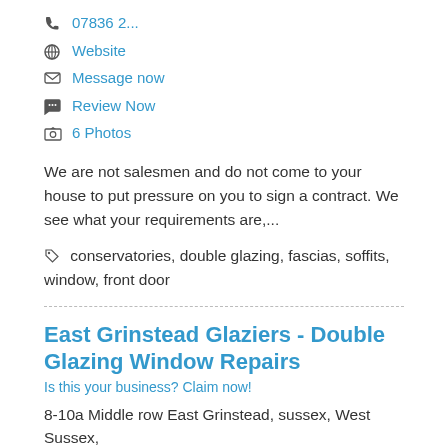07836 2...
Website
Message now
Review Now
6 Photos
We are not salesmen and do not come to your house to put pressure on you to sign a contract. We see what your requirements are,...
conservatories, double glazing, fascias, soffits, window, front door
East Grinstead Glaziers - Double Glazing Window Repairs
Is this your business? Claim now!
8-10a Middle row East Grinstead, sussex, West Sussex,